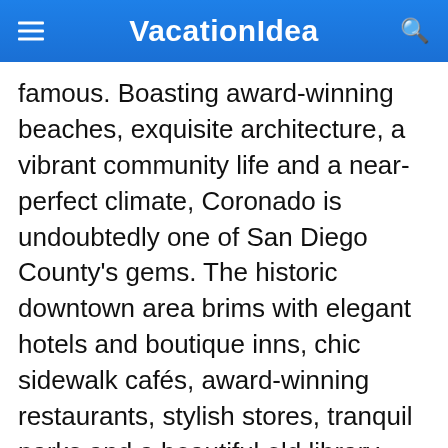VacationIdea
famous. Boasting award-winning beaches, exquisite architecture, a vibrant community life and a near-perfect climate, Coronado is undoubtedly one of San Diego County's gems. The historic downtown area brims with elegant hotels and boutique inns, chic sidewalk cafés, award-winning restaurants, stylish stores, tranquil parks and a beautiful old library.
Watch a show at the vintage state-of-the-art movie house or live theater at the Coronado School of the Arts. Take the time to explore